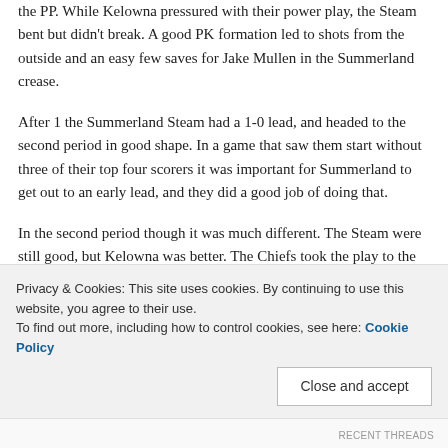the PP. While Kelowna pressured with their power play, the Steam bent but didn't break. A good PK formation led to shots from the outside and an easy few saves for Jake Mullen in the Summerland crease.
After 1 the Summerland Steam had a 1-0 lead, and headed to the second period in good shape. In a game that saw them start without three of their top four scorers it was important for Summerland to get out to an early lead, and they did a good job of doing that.
In the second period though it was much different. The Steam were still good, but Kelowna was better. The Chiefs took the play to the Steam and got in the kitchen of Steam goaltender Jake Mullen. After working at it for
Privacy & Cookies: This site uses cookies. By continuing to use this website, you agree to their use.
To find out more, including how to control cookies, see here: Cookie Policy
Close and accept
RECENT THREADS